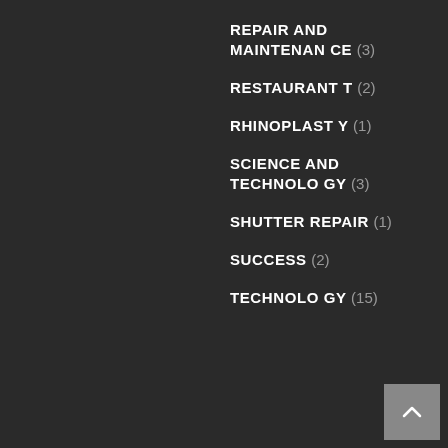REPAIR AND MAINTENANCE (3)
RESTAURANT (2)
RHINOPLASTY (1)
SCIENCE AND TECHNOLOGY (3)
SHUTTER REPAIR (1)
SUCCESS (2)
TECHNOLOGY (15)